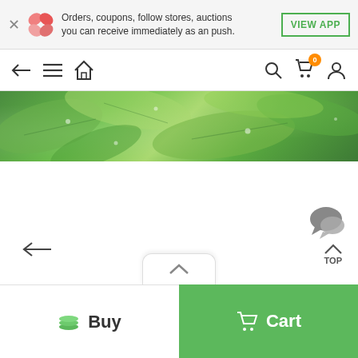Orders, coupons, follow stores, auctions you can receive immediately as an push.
VIEW APP
[Figure (screenshot): Mobile app navigation bar with back arrow, hamburger menu, home icon on left; search, cart (badge: 0), and user icons on right]
[Figure (photo): Close-up photo of green leaves with water droplets]
[Figure (screenshot): White content area with chat bubble icon (bottom right), back arrow (bottom left), TOP button (bottom right), scroll-up tab in center bottom]
Buy
Cart